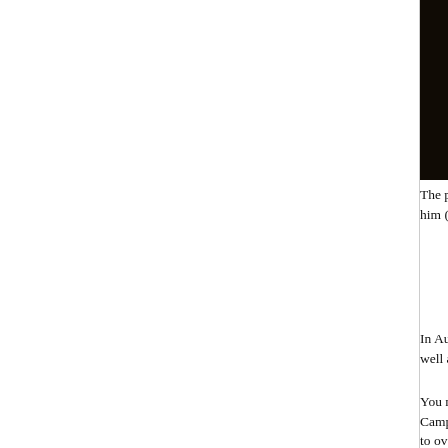[Figure (photo): Dark photograph showing a piano, likely the piano Frank Churchill bought for Jane Fairfax, with piano keys visible on the right side]
The piano Frank Churchill (Robert East) bought Jane F... Miss Bates's lodgings and see Frank's hand on the key... next to him (from Emma, BBC 1972)
In Austen's book, Frank wants Jane to play songs they... holiday at Weymouth. He must somehow in front of thi... this as well as say why.
You need to know no one in the room but Frank and Ja... him and that the others have been encouraged by Mis... Campbell her guardian. This is improbable because he... creating attention-getting mysteries; also while he has... willing to overspend so lavishly in this way on her. Em... start a rumor it could be a clandestine love gift from M... best friend; this is base treachery from woman to wom... Emma is endangering Jane's reputation and relationsh... previous evening Jane and Frank had been to a party... but they had not been able to dance with one another,... danced with Emma, and understandably (and callously... excited Jane's jealousy. Jane has exhibited considerab... others and strong reluctance to play any of the songs w... So he sneaks before them all to her them...